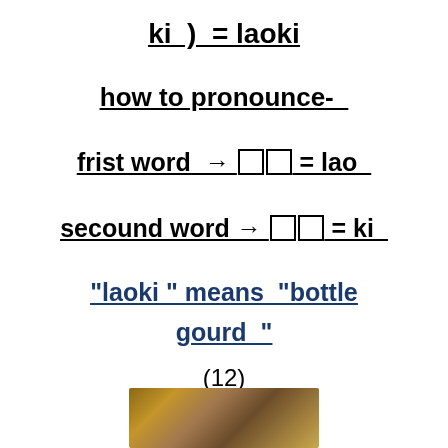ki  )  = laoki
how to pronounce-
frist word  →  ▯▯  = lao
secound word  →  ▯▯  = ki
"laoki " means  "bottle gourd  "
(12)
[Figure (photo): Photo of a bottle gourd vegetable]